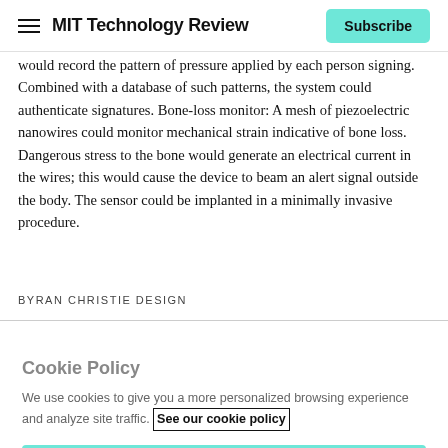MIT Technology Review
would record the pattern of pressure applied by each person signing. Combined with a database of such patterns, the system could authenticate signatures. Bone-loss monitor: A mesh of piezoelectric nanowires could monitor mechanical strain indicative of bone loss. Dangerous stress to the bone would generate an electrical current in the wires; this would cause the device to beam an alert signal outside the body. The sensor could be implanted in a minimally invasive procedure.
BYRAN CHRISTIE DESIGN
Cookie Policy
We use cookies to give you a more personalized browsing experience and analyze site traffic. See our cookie policy
Accept all cookies
Cookies settings